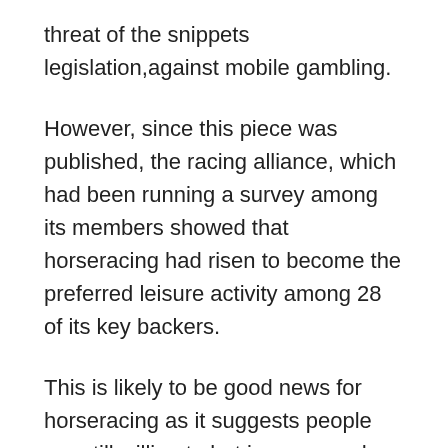threat of the snippets legislation,against mobile gambling.
However, since this piece was published, the racing alliance, which had been running a survey among its members showed that horseracing had risen to become the preferred leisure activity among 28 of its key backers.
This is likely to be good news for horseracing as it suggests people are still willing to bet in races and races despite the current economic situation. [link]
While gambling in stock market seems to be going from bad to worse, horseracing has seen a turnaround, albeit